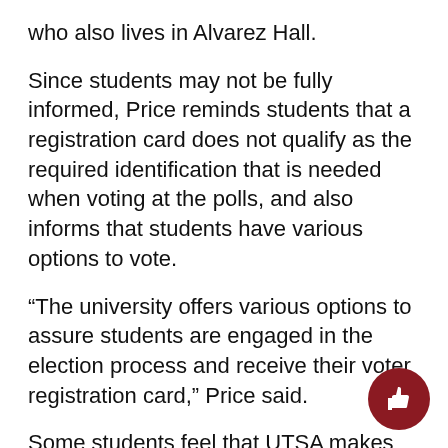who also lives in Alvarez Hall.
Since students may not be fully informed, Price reminds students that a registration card does not qualify as the required identification that is needed when voting at the polls, and also informs that students have various options to vote.
“The university offers various options to assure students are engaged in the election process and receive their voter registration card,” Price said.
Some students feel that UTSA makes voting on campus convenient. “After two years of living on campus, I never purchased a UPS mailbox but I personally didn’t let that stop me from voting,” said Blanca Palomo, a senior politics